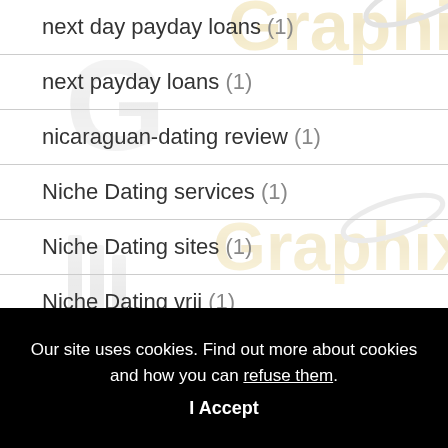next day payday loans (1)
next payday loans (1)
nicaraguan-dating review (1)
Niche Dating services (1)
Niche Dating sites (1)
Niche Dating vrij (1)
Our site uses cookies. Find out more about cookies and how you can refuse them.
I Accept